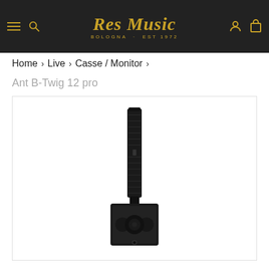Res Music Bologna EST 1972
Home > Live > Casse / Monitor >
Ant B-Twig 12 pro
[Figure (photo): Black column speaker system (Ant B-Twig 12 pro) consisting of a tall slim column array on top of a square subwoofer base unit, shown on white background]